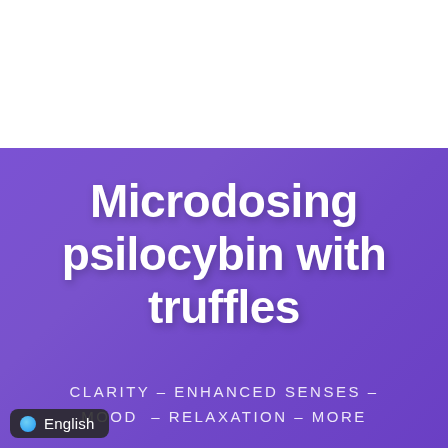Microdosing psilocybin with truffles
CLARITY – ENHANCED SENSES – MOOD – RELAXATION – MORE